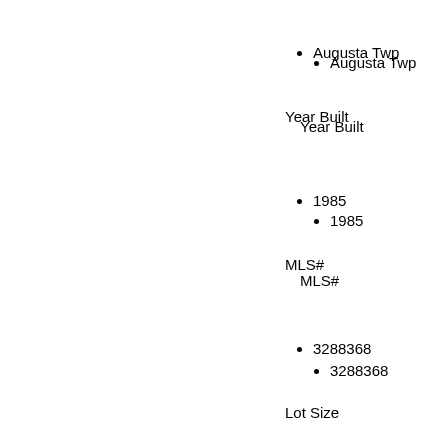Augusta Twp
Year Built
1985
MLS#
3288368
Lot Size
Acres
Garage
Attached
Electric
Detached
Second Garage
Door Opener
Style